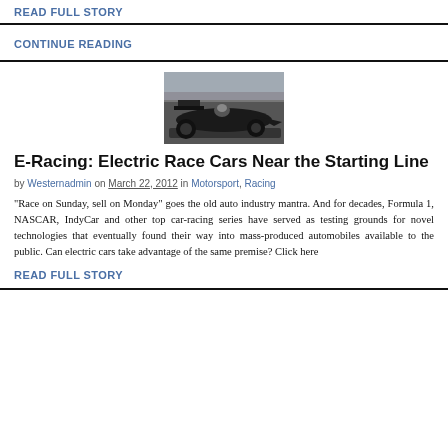READ FULL STORY
CONTINUE READING
[Figure (photo): A dark Formula 1 or open-wheel electric race car on track, viewed from the side-rear, with a driver visible in the cockpit]
E-Racing: Electric Race Cars Near the Starting Line
by Westernadmin on March 22, 2012 in Motorsport, Racing
“Race on Sunday, sell on Monday” goes the old auto industry mantra. And for decades, Formula 1, NASCAR, IndyCar and other top car-racing series have served as testing grounds for novel technologies that eventually found their way into mass-produced automobiles available to the public. Can electric cars take advantage of the same premise? Click here
READ FULL STORY